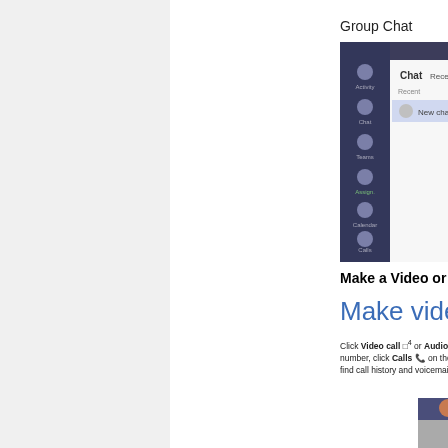Group Chat
[Figure (screenshot): Microsoft Teams group chat interface screenshot showing sidebar navigation with Activity, Chat, Teams, Assignments, Calendar, Calls, Files icons on dark purple panel; Chat area showing Recent, Contacts tabs with New chat option; right panel showing To: field with Test Account recipients and a conversation area with message bubbles]
Make a Video or Audio Call
[Figure (screenshot): Microsoft Teams interface showing 'Make video and audio calls' heading with text: Click Video call or Audio call to call someone. To call a phone number, click Calls on the left and enter a phone number. You can find call history and voicemail in the same area.]
Click Video call □4 or Audio call ☏ to call someone. To call a phone number, click Calls ☏ on the left and enter a phone number. You can find call history and voicemail in the same area.
[Figure (screenshot): Microsoft Teams video/audio call interface with a contact's profile photo, window controls, and large circular buttons for video (camera) call and audio call]